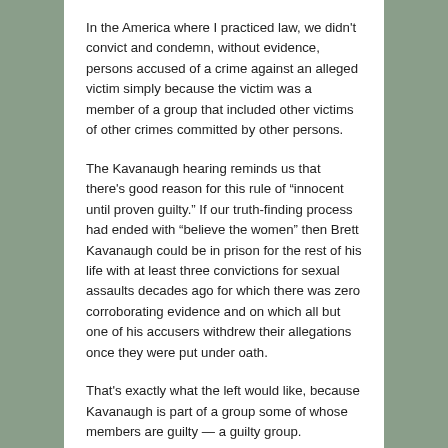In the America where I practiced law, we didn't convict and condemn, without evidence, persons accused of a crime against an alleged victim simply because the victim was a member of a group that included other victims of other crimes committed by other persons.
The Kavanaugh hearing reminds us that there’s good reason for this rule of “innocent until proven guilty.” If our truth-finding process had ended with “believe the women” then Brett Kavanaugh could be in prison for the rest of his life with at least three convictions for sexual assaults decades ago for which there was zero corroborating evidence and on which all but one of his accusers withdrew their allegations once they were put under oath.
That’s exactly what the left would like, because Kavanaugh is part of a group some of whose members are guilty — a guilty group.
The syllogism goes like this: White men are a guilty group because some of them have been guilty of abuse.